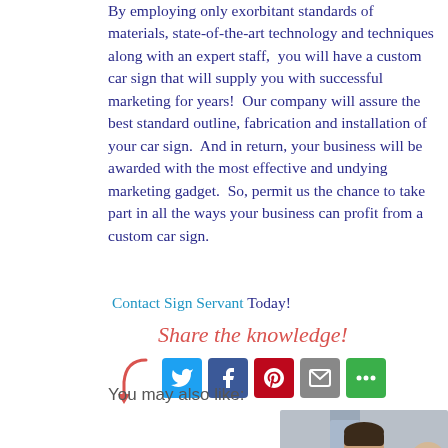By employing only exorbitant standards of materials, state-of-the-art technology and techniques along with an expert staff, you will have a custom car sign that will supply you with successful marketing for years! Our company will assure the best standard outline, fabrication and installation of your car sign. And in return, your business will be awarded with the most effective and undying marketing gadget. So, permit us the chance to take part in all the ways your business can profit from a custom car sign. Contact Sign Servant Today!
[Figure (infographic): Share the knowledge! with a curved arrow pointing to social media icons: Twitter, Facebook, Pinterest, Email, and More Options]
You may also like:
[Figure (photo): Photo of a smiling young man with dark hair with other people around him]